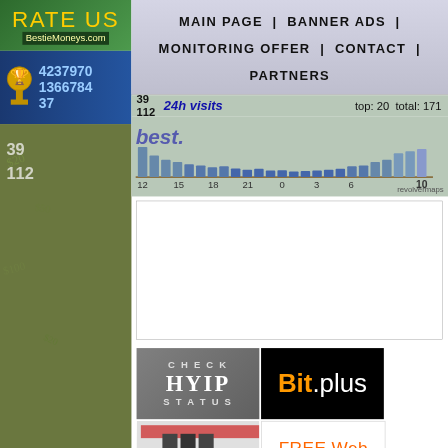[Figure (screenshot): Rate Us banner with yellow text on green background, BestieMoneys.com logo]
[Figure (screenshot): Trophy icon with stats: 4237970, 1366784, 37]
MAIN PAGE | BANNER ADS | MONITORING OFFER | CONTACT | PARTNERS
39
112
24h visits   top: 20  total: 171
[Figure (bar-chart): Bar chart of 24h visits with x-axis labels: 12, 15, 18, 21, 0, 3, 6, 10]
revolvermaps
[Figure (screenshot): White content box area]
[Figure (screenshot): CHECK HYIP STATUS banner - grey text on grey background]
[Figure (screenshot): Bit.plus banner - orange B and white text on black background]
[Figure (screenshot): HOSTING banner - black server image with hosting text]
[Figure (screenshot): FREE Web Monitoring banner - orange text on white]
[Figure (screenshot): ASR Search Engine banner - text on red background]
[Figure (screenshot): FOREX banner - financial chart on light background]